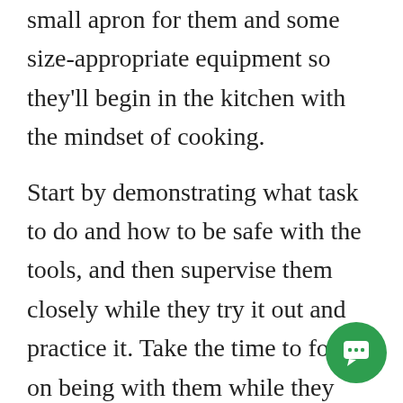small apron for them and some size-appropriate equipment so they'll begin in the kitchen with the mindset of cooking.
Start by demonstrating what task to do and how to be safe with the tools, and then supervise them closely while they try it out and practice it. Take the time to focus on being with them while they practice these techniques before you go off to the other side of the kitchen, and let them do the task themselves. Yes it'll get messy, they won't quite do it right, and they might hurt themselves.